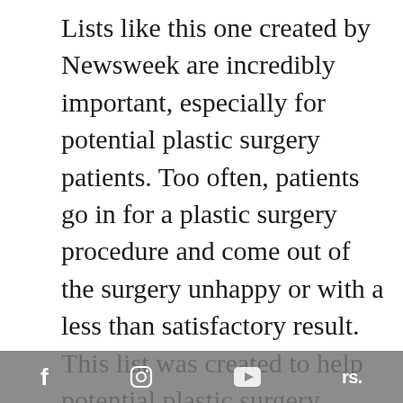Lists like this one created by Newsweek are incredibly important, especially for potential plastic surgery patients. Too often, patients go in for a plastic surgery procedure and come out of the surgery unhappy or with a less than satisfactory result. This list was created to help potential plastic surgery patients avoid disastrous results by providing a comprehensive assortment of highly-rated surgeons across the country. Patients can now refer to this list when finding a plastic surgeon, making their surgeon selection process safer and less stressful. The full list of surgeons is
f  [instagram]  [youtube]  rs.